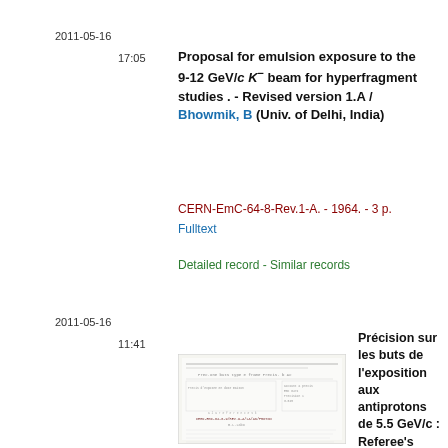2011-05-16
17:05
Proposal for emulsion exposure to the 9-12 GeV/c K⁻ beam for hyperfragment studies . - Revised version 1.A / Bhowmik, B (Univ. of Delhi, India)
CERN-EmC-64-8-Rev.1-A. - 1964. - 3 p.
Fulltext
Detailed record - Similar records
2011-05-16
11:41
[Figure (photo): Thumbnail image of a scanned document page showing typewritten text]
Précision sur les buts de l’exposition aux antiprotons de 5.5 GeV/c : Referee’s comments about proposal EmC...